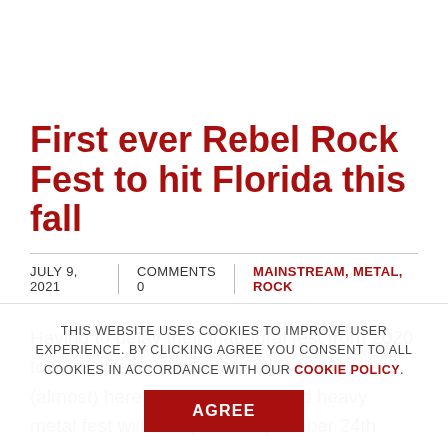First ever Rebel Rock Fest to hit Florida this fall
JULY 9, 2021  |  COMMENTS 0  |  MAINSTREAM, METAL, ROCK
Having to delay their inaugural fest from 2020 to 2021, Rebel Rock Festival is finally (almost) here!! This new rock and heavy metal fest will take place September 24th through 26th at
THIS WEBSITE USES COOKIES TO IMPROVE USER EXPERIENCE. BY CLICKING AGREE YOU CONSENT TO ALL COOKIES IN ACCORDANCE WITH OUR COOKIE POLICY. AGREE